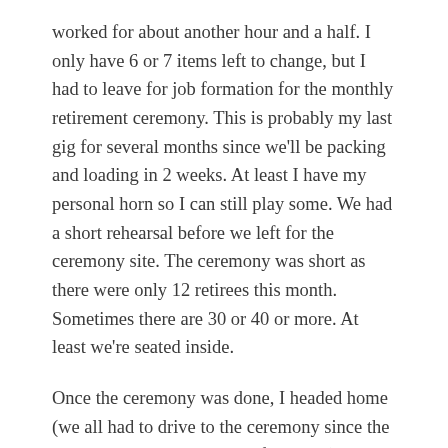worked for about another hour and a half.  I only have 6 or 7 items left to change, but I had to leave for job formation for the monthly retirement ceremony.  This is probably my last gig for several months since we'll be packing and loading in 2 weeks.  At least I have my personal horn so I can still play some.  We had a short rehearsal before we left for the ceremony site.  The ceremony was short as there were only 12 retirees this month.  Sometimes there are 30 or 40 or more.  At least we're seated inside.
Once the ceremony was done, I headed home (we all had to drive to the ceremony since the bus wouldn't start because of the cold).  Ryan had picked Robbie up earlier as he wasn't feeling well – tummyache and slightly feverish.  Of course, by the time I got home, he